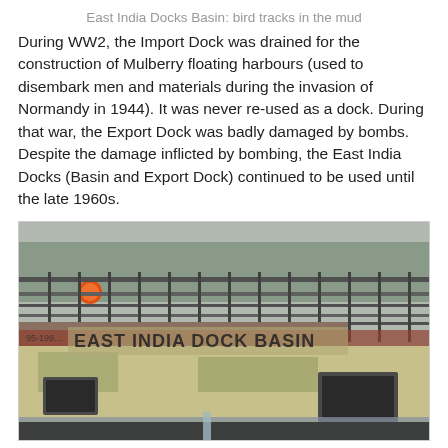East India Docks Basin: bird tracks in the mud
During WW2, the Import Dock was drained for the construction of Mulberry floating harbours (used to disembark men and materials during the invasion of Normandy in 1944). It was never re-used as a dock. During that war, the Export Dock was badly damaged by bombs. Despite the damage inflicted by bombing, the East India Docks (Basin and Export Dock) continued to be used until the late 1960s.
[Figure (photo): Photograph of the East India Docks Basin showing a metal railing walkway/bridge structure above weathered concrete dock walls. Graffiti reading 'EAST INDIA DOCK BASIN' is visible on the stone wall. Water trickles below. Moss and weathering mark the concrete surfaces. Trees and buildings visible in the background.]